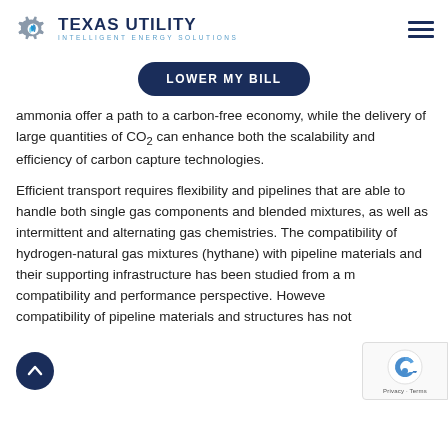[Figure (logo): Texas Utility Intelligent Energy Solutions logo with gear and flame icon]
LOWER MY BILL
ammonia offer a path to a carbon-free economy, while the delivery of large quantities of CO₂ can enhance both the scalability and efficiency of carbon capture technologies.
Efficient transport requires flexibility and pipelines that are able to handle both single gas components and blended mixtures, as well as intermittent and alternating gas chemistries. The compatibility of hydrogen-natural gas mixtures (hythane) with pipeline materials and their supporting infrastructure has been studied from a m... compatibility and performance perspective. However... compatibility of pipeline materials and structures has not